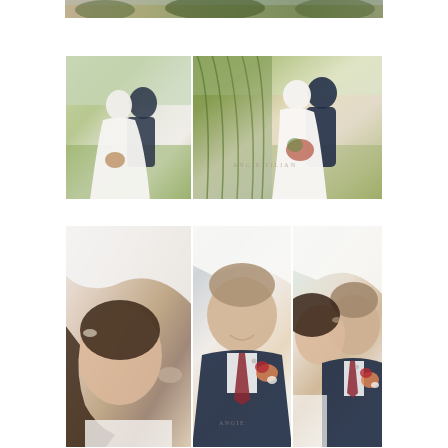[Figure (photo): Top strip: partial view of outdoor scenic photograph, appears to be a cropped section of an outdoor landscape or wedding venue]
[Figure (photo): Middle left: Wedding couple sharing a kiss outdoors on a green lawn, bride in white gown with long sleeves holding bouquet, groom in navy suit]
[Figure (photo): Middle right: Wedding couple posing under a large weeping willow tree, bride in white dress holding colorful bouquet, groom in navy suit, watermark reads ANGIE TILIAN]
[Figure (photo): Bottom left: Close-up of bride's face and hair in profile, veil draped overhead, detailed curled updo with hair accessory]
[Figure (photo): Bottom middle: Close-up of groom smiling downward, wearing navy suit with burgundy tie and boutonniere of peach and red roses, veil draped overhead, watermark reads ANGIE]
[Figure (photo): Bottom right: Close-up of couple touching foreheads, groom in navy suit with boutonniere, bride's veil overhead, intimate romantic pose]